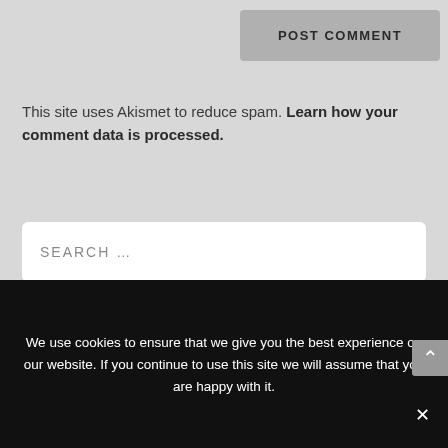POST COMMENT
This site uses Akismet to reduce spam. Learn how your comment data is processed.
SEARCH ...
BE INSPIRED
[Figure (other): Quote of the Day card with bold italic text inside a rounded rectangle border]
We use cookies to ensure that we give you the best experience on our website. If you continue to use this site we will assume that you are happy with it.